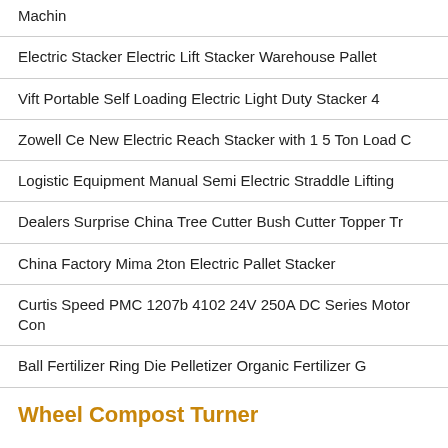Machin
Electric Stacker Electric Lift Stacker Warehouse Pallet
Vift Portable Self Loading Electric Light Duty Stacker 4
Zowell Ce New Electric Reach Stacker with 1 5 Ton Load C
Logistic Equipment Manual Semi Electric Straddle Lifting
Dealers Surprise China Tree Cutter Bush Cutter Topper Tr
China Factory Mima 2ton Electric Pallet Stacker
Curtis Speed PMC 1207b 4102 24V 250A DC Series Motor Con
Ball Fertilizer Ring Die Pelletizer Organic Fertilizer G
Wheel Compost Turner